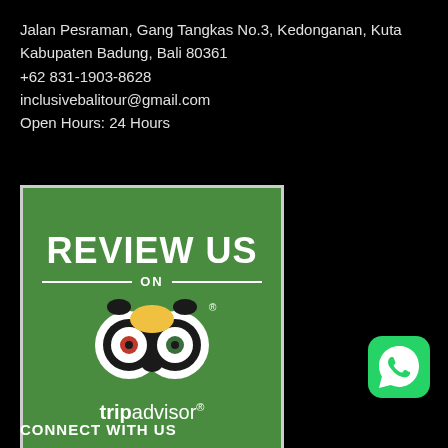Jalan Pesraman, Gang Tangkas No.3, Kedonganan, Kuta Kabupaten Badung, Bali 80361
+62 831-1903-8628
inclusivebalitour@gmail.com
Open Hours: 24 Hours
[Figure (logo): TripAdvisor 'Review Us' badge: green background with white border, large white bold text 'REVIEW US', horizontal lines with 'ON' between them, TripAdvisor owl logo, and 'tripadvisor' text with registered trademark symbol]
[Figure (logo): WhatsApp icon: green rounded square with white phone/chat bubble logo]
CONNECT WITH US